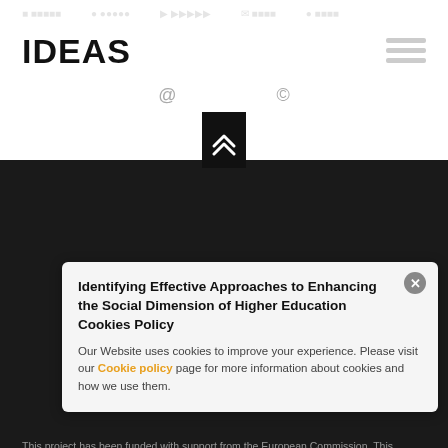IDEAS
[Figure (logo): Lifelong Learning Programme EU logo with blue flag and yellow stars, text: Lifelong Learning Programme]
This project has been funded with support from the European Commission. This publication reflects the views only of the author, and the Commission cannot be held responsible for any use which may be made of the information contained therein.
Identifying Effective Approaches to Enhancing the Social Dimension of Higher Education Cookies Policy

Our Website uses cookies to improve your experience. Please visit our Cookie policy page for more information about cookies and how we use them.